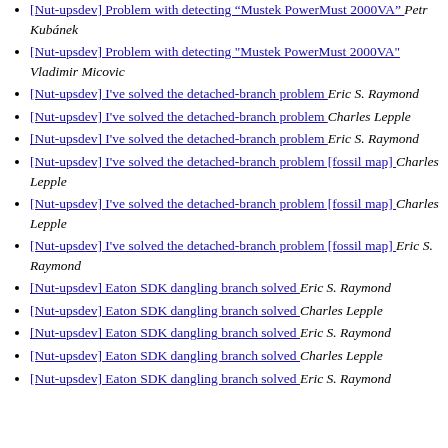[Nut-upsdev] Problem with detecting "Mustek PowerMust 2000VA"  Petr Kubánek
[Nut-upsdev] Problem with detecting "Mustek PowerMust 2000VA"  Vladimir Micovic
[Nut-upsdev] I've solved the detached-branch problem  Eric S. Raymond
[Nut-upsdev] I've solved the detached-branch problem  Charles Lepple
[Nut-upsdev] I've solved the detached-branch problem  Eric S. Raymond
[Nut-upsdev] I've solved the detached-branch problem [fossil map]  Charles Lepple
[Nut-upsdev] I've solved the detached-branch problem [fossil map]  Charles Lepple
[Nut-upsdev] I've solved the detached-branch problem [fossil map]  Eric S. Raymond
[Nut-upsdev] Eaton  SDK dangling branch solved  Eric S. Raymond
[Nut-upsdev] Eaton  SDK dangling branch solved  Charles Lepple
[Nut-upsdev] Eaton  SDK dangling branch solved  Eric S. Raymond
[Nut-upsdev] Eaton  SDK dangling branch solved  Charles Lepple
[Nut-upsdev] Eaton  SDK dangling branch solved  Eric S. Raymond